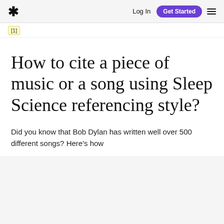* Log In Get Started ☰
[1]
How to cite a piece of music or a song using Sleep Science referencing style?
Did you know that Bob Dylan has written well over 500 different songs? Here's how